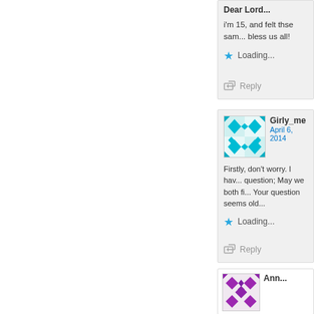i'm 15, and felt thse sam... bless us all!
Loading...
Reply
Girly_me
April 6, 2014
Firstly, don't worry. I have... question; May we both fi... Your question seems old...
Loading...
Reply
Ann...